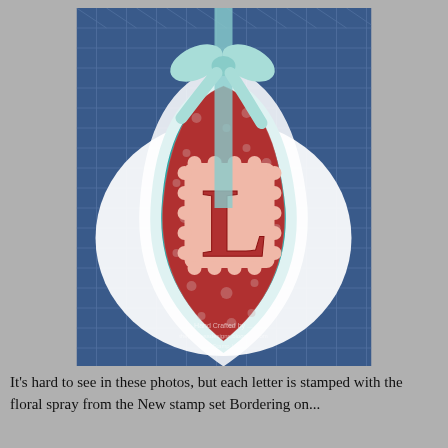[Figure (photo): A handcrafted decorative door hanger or ornament in a teardrop/egg shape with teal/turquoise border, white gathered ribbon ruffle trim, red damask patterned paper center, a light pink scalloped tag layered on top, and a large red letter 'L' stamped on it. A mint/teal satin ribbon bow is tied at the top. The piece is displayed against a blue chicken wire background. A handwritten watermark reads 'Hand Crafted by ...' and 'theprincessdesigns.blogspot.com'.]
It's hard to see in these photos, but each letter is stamped with the floral spray from the New stamp set Bordering on...